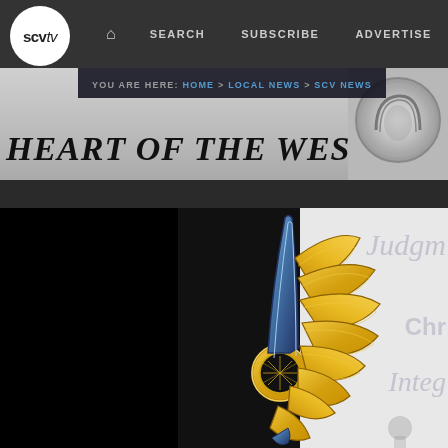scvtv — SEARCH | SUBSCRIBE | ADVERTISE
YOU ARE HERE: HOME > LOCAL NEWS > SCV NEWS
HEART OF THE WEST
[Figure (photo): Close-up photo of a decorative golden eagle wing emblem with blue accents against a white background with partially visible italic text reading 'Judgm...', 'Chr...', 'Integ...' The left portion of the image is solid black.]